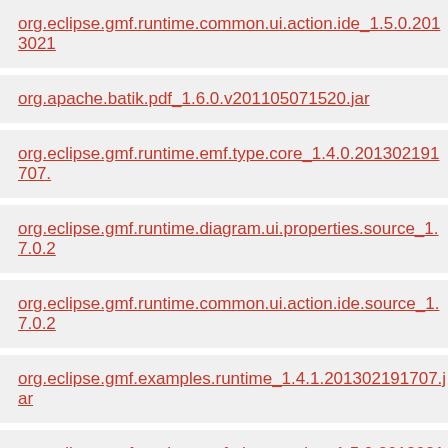org.eclipse.gmf.runtime.common.ui.action.ide_1.5.0.201302...
org.apache.batik.pdf_1.6.0.v201105071520.jar
org.eclipse.gmf.runtime.emf.type.core_1.4.0.201302191707...
org.eclipse.gmf.runtime.diagram.ui.properties.source_1.7.0.2...
org.eclipse.gmf.runtime.common.ui.action.ide.source_1.7.0.2...
org.eclipse.gmf.examples.runtime_1.4.1.201302191707.jar
org.eclipse.gmf.runtime.emf.ui.properties_1.5.0.2013021917...
org.eclipse.core.filesystem.linux.x86_1.4.100.v20130430-133...